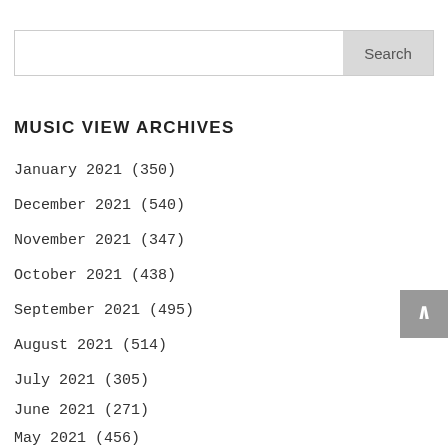January 2022 (350)
MUSIC VIEW ARCHIVES
January 2022 (350)
December 2021 (540)
November 2021 (347)
October 2021 (438)
September 2021 (495)
August 2021 (514)
July 2021 (305)
June 2021 (271)
May 2021 (456)